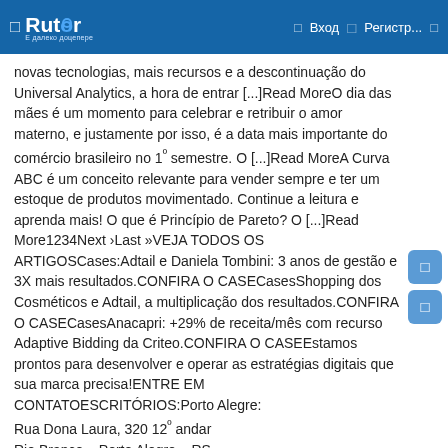Rutor | Вход | Регистр...
novas tecnologias, mais recursos e a descontinuação do Universal Analytics, a hora de entrar [...]Read MoreO dia das mães é um momento para celebrar e retribuir o amor materno, e justamente por isso, é a data mais importante do comércio brasileiro no 1º semestre. O [...]Read MoreA Curva ABC é um conceito relevante para vender sempre e ter um estoque de produtos movimentado. Continue a leitura e aprenda mais! O que é Princípio de Pareto? O [...]Read More1234Next ›Last »VEJA TODOS OS ARTIGOSCases:Adtail e Daniela Tombini: 3 anos de gestão e 3X mais resultados.CONFIRA O CASECasesShopping dos Cosméticos e Adtail, a multiplicação dos resultados.CONFIRA O CASECasesAnacapri: +29% de receita/mês com recurso Adaptive Bidding da Criteo.CONFIRA O CASEEstamos prontos para desenvolver e operar as estratégias digitais que sua marca precisa!ENTRE EM CONTATOESCRITÓRIOS:Porto Alegre:
Rua Dona Laura, 320 12º andar
Rio Branco – Porto Alegre – RS
CEP: 90430-090